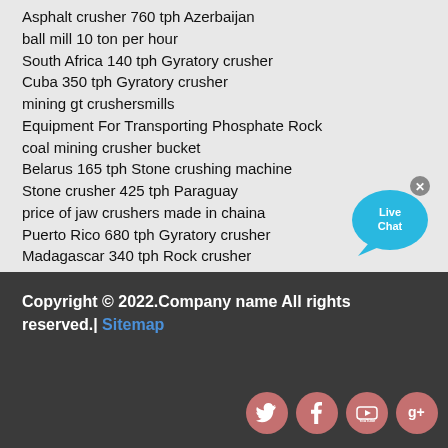Asphalt crusher 760 tph Azerbaijan
ball mill 10 ton per hour
South Africa 140 tph Gyratory crusher
Cuba 350 tph Gyratory crusher
mining gt crushersmills
Equipment For Transporting Phosphate Rock
coal mining crusher bucket
Belarus 165 tph Stone crushing machine
Stone crusher 425 tph Paraguay
price of jaw crushers made in chaina
Puerto Rico 680 tph Gyratory crusher
Madagascar 340 tph Rock crusher
flowchart of vertical mill machine
Ethiopia Secondary crusher 600 tph
[Figure (illustration): Live Chat button with speech bubble icon in cyan/blue color with an X close button]
Copyright © 2022.Company name All rights reserved.| Sitemap
[Figure (illustration): Four social media icons (Twitter, Facebook, YouTube, Google+) as pink/rose circular buttons]